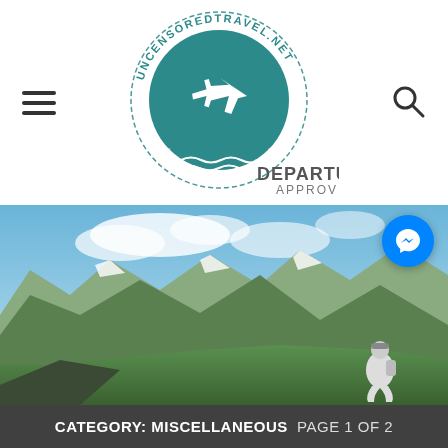[Figure (logo): UncensoredTravel.net circular stamp logo with airplane silhouette and text 'DEPARTURE APPROVED']
[Figure (photo): Mountain landscape with snow-patched peaks, green hillside, blue sky with clouds, and a person sitting with a backpack looking at the view]
CATEGORY: MISCELLANEOUS  PAGE 1 OF 2